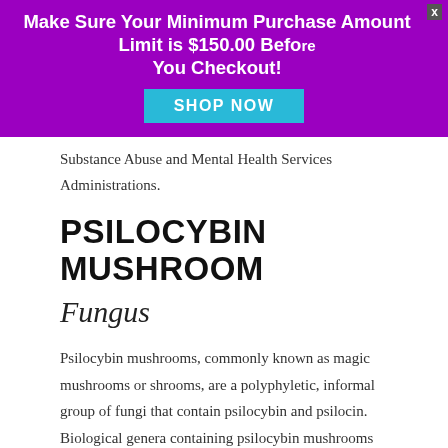[Figure (screenshot): Purple promotional banner with white bold text 'Make Sure Your Minimum Purchase Amount Limit is $150.00 Before You Checkout!' and a cyan 'SHOP NOW' button, with an X close button in the top-right corner.]
Substance Abuse and Mental Health Services Administrations.
PSILOCYBIN MUSHROOM
Fungus
Psilocybin mushrooms, commonly known as magic mushrooms or shrooms, are a polyphyletic, informal group of fungi that contain psilocybin and psilocin. Biological genera containing psilocybin mushrooms include Copelandia, Gymnopilus, Inocybe, Panacolus, Pholiotina,